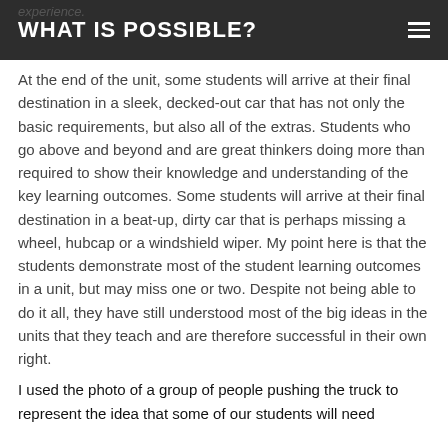WHAT IS POSSIBLE?
At the end of the unit, some students will arrive at their final destination in a sleek, decked-out car that has not only the basic requirements, but also all of the extras. Students who go above and beyond and are great thinkers doing more than required to show their knowledge and understanding of the key learning outcomes. Some students will arrive at their final destination in a beat-up, dirty car that is perhaps missing a wheel, hubcap or a windshield wiper. My point here is that the students demonstrate most of the student learning outcomes in a unit, but may miss one or two. Despite not being able to do it all, they have still understood most of the big ideas in the units that they teach and are therefore successful in their own right.
I used the photo of a group of people pushing the truck to represent the idea that some of our students will need